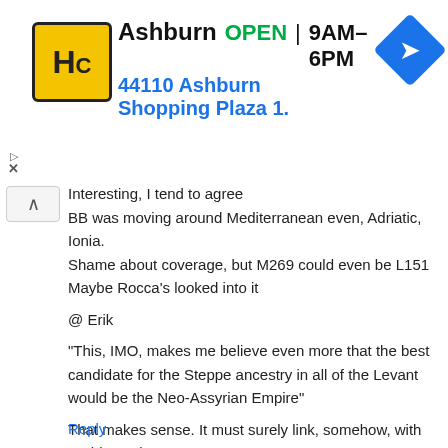[Figure (infographic): Advertisement banner for Ashburn HC store showing logo, open hours 9AM-6PM, address 44110 Ashburn Shopping Plaza 1., and navigation arrow icon]
Interesting, I tend to agree
BB was moving around Mediterranean even, Adriatic, Ionia.
Shame about coverage, but M269 could even be L151
Maybe Rocca's looked into it

@ Erik

"This, IMO, makes me believe even more that the best candidate for the Steppe ancestry in all of the Levant would be the Neo-Assyrian Empire"

That makes sense. It must surely link, somehow, with "Ashkenazi Z93' ?
Reply